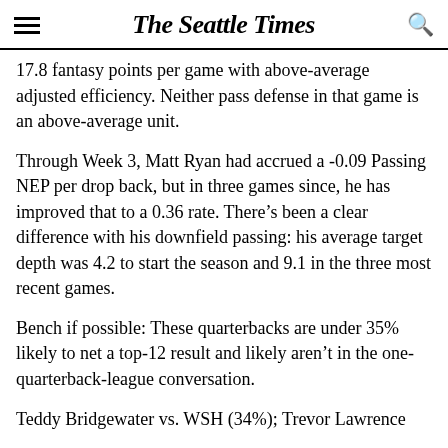The Seattle Times
17.8 fantasy points per game with above-average adjusted efficiency. Neither pass defense in that game is an above-average unit.
Through Week 3, Matt Ryan had accrued a -0.09 Passing NEP per drop back, but in three games since, he has improved that to a 0.36 rate. There’s been a clear difference with his downfield passing: his average target depth was 4.2 to start the season and 9.1 in the three most recent games.
Bench if possible: These quarterbacks are under 35% likely to net a top-12 result and likely aren’t in the one-quarterback-league conversation.
Teddy Bridgewater vs. WSH (34%); Trevor Lawrence